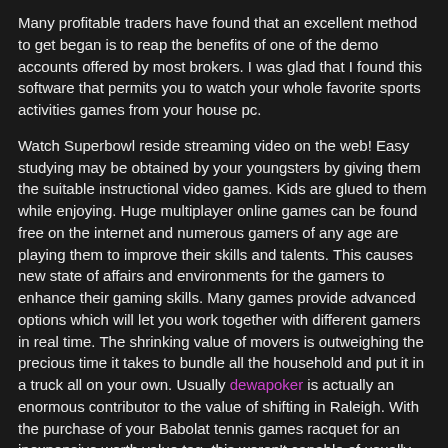Many profitable traders have found that an excellent method to get began is to reap the benefits of one of the demo accounts offered by most brokers. I was glad that I found this software that permits you to watch your whole favorite sports activities games from your house pc.
Watch Superbowl reside streaming video on the web! Easy studying may be obtained by your youngsters by giving them the suitable instructional video games. Kids are glued to them while enjoying. Huge multiplayer online games can be found free on the internet and numerous gamers of any age are playing them to improve their skills and talents. This causes new state of affairs and environments for the gamers to enhance their gaming skills. Many games provide advanced options which will let you work together with different gamers in real time. The shrinking value of movers is outweighing the precious time it takes to bundle all the household and put it in a truck all on your own. Usually dewapoker is actually an enormous contributor to the value of shifting in Raleigh. With the purchase of your Babolat tennis games racquet for an inexpensive worth value tag, this weren't capable of usually be so much easier in comparison with acquiring online. If you're looking to enhance your recreation a Babolat tennis racquet could also be just what you're searching for. Babolat tennis racquets are particularly designed to go well with the person needs of a player and take into account points of play